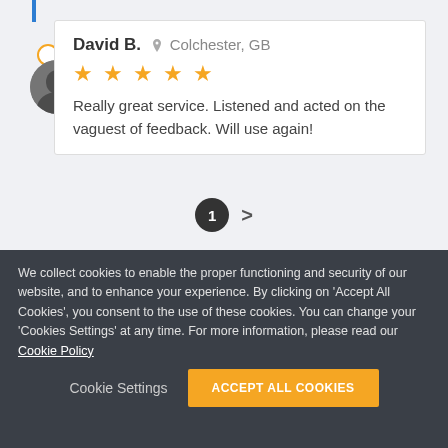[Figure (screenshot): Review card for David B. from Colchester, GB with 5 orange stars and text 'Really great service. Listened and acted on the vaguest of feedback. Will use again!' with pagination showing page 1 and next arrow.]
We collect cookies to enable the proper functioning and security of our website, and to enhance your experience. By clicking on 'Accept All Cookies', you consent to the use of these cookies. You can change your 'Cookies Settings' at any time. For more information, please read our Cookie Policy
Product
About